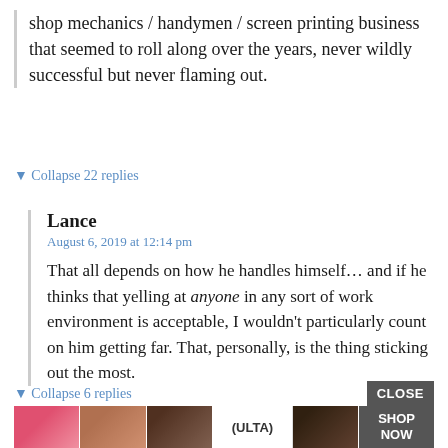shop mechanics / handymen / screen printing business that seemed to roll along over the years, never wildly successful but never flaming out.
▼ Collapse 22 replies
Lance
August 6, 2019 at 12:14 pm
That all depends on how he handles himself… and if he thinks that yelling at anyone in any sort of work environment is acceptable, I wouldn't particularly count on him getting far. That, personally, is the thing sticking out the most.
▼ Collapse 6 replies
[Figure (screenshot): ULTA beauty advertisement banner with makeup images and SHOP NOW button, with CLOSE button above it]